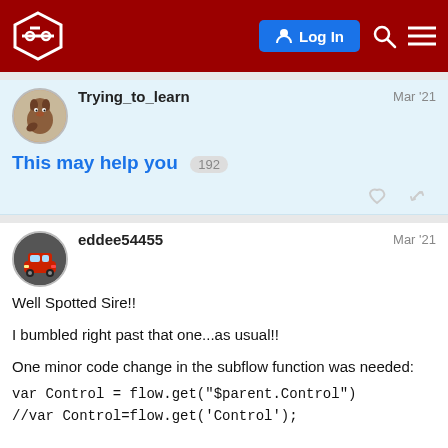Forum header with logo, Log In button, search and menu icons
Trying_to_learn  Mar '21
This may help you  192
eddee54455  Mar '21
Well Spotted Sire!!
I bumbled right past that one...as usual!!
One minor code change in the subflow function was needed:
var Control = flow.get("$parent.Control")
//var Control=flow.get('Control');
Seems like its working now!!
2 / 5